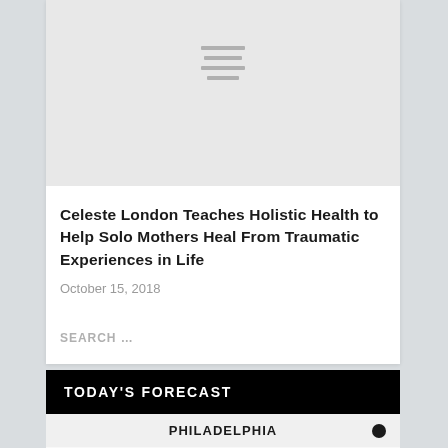[Figure (illustration): Gray image placeholder with horizontal hamburger-style lines indicating an image loading state]
Celeste London Teaches Holistic Health to Help Solo Mothers Heal From Traumatic Experiences in Life
October 15, 2018
SEARCH ...
TODAY'S FORECAST
PHILADELPHIA